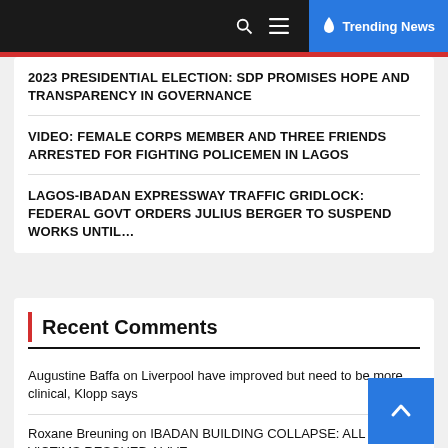Trending News
2023 PRESIDENTIAL ELECTION: SDP PROMISES HOPE AND TRANSPARENCY IN GOVERNANCE
VIDEO: FEMALE CORPS MEMBER AND THREE FRIENDS ARRESTED FOR FIGHTING POLICEMEN IN LAGOS
LAGOS-IBADAN EXPRESSWAY TRAFFIC GRIDLOCK: FEDERAL GOVT ORDERS JULIUS BERGER TO SUSPEND WORKS UNTIL…
Recent Comments
Augustine Baffa on Liverpool have improved but need to be more clinical, Klopp says
Roxane Breuning on IBADAN BUILDING COLLAPSE: ALL VICTIMS RESCUED ALIVE